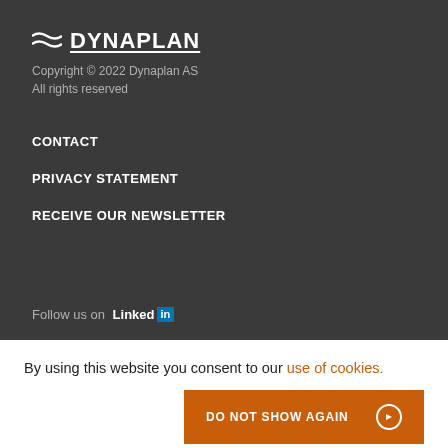[Figure (logo): Dynaplan logo with two wavy lines icon and bold text DYNAPLAN with underline]
Copyright © 2022 Dynaplan AS
All rights reserved
CONTACT
PRIVACY STATEMENT
RECEIVE OUR NEWSLETTER
Follow us on LinkedIn
By using this website you consent to our use of cookies.
DO NOT SHOW AGAIN